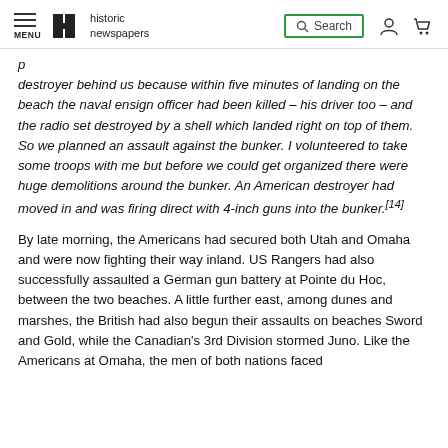MENU | historic newspapers | Search
destroyer behind us because within five minutes of landing on the beach the naval ensign officer had been killed – his driver too – and the radio set destroyed by a shell which landed right on top of them. So we planned an assault against the bunker. I volunteered to take some troops with me but before we could get organized there were huge demolitions around the bunker. An American destroyer had moved in and was firing direct with 4-inch guns into the bunker.[14]
By late morning, the Americans had secured both Utah and Omaha and were now fighting their way inland. US Rangers had also successfully assaulted a German gun battery at Pointe du Hoc, between the two beaches. A little further east, among dunes and marshes, the British had also begun their assaults on beaches Sword and Gold, while the Canadian's 3rd Division stormed Juno. Like the Americans at Omaha, the men of both nations faced